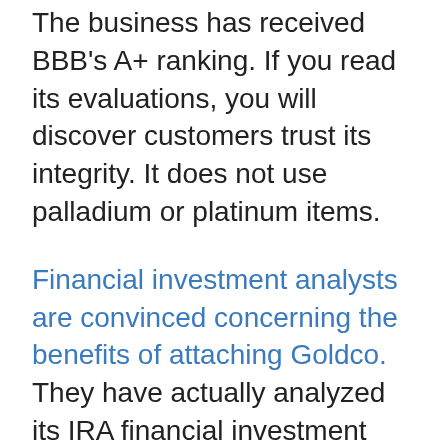The business has received BBB's A+ ranking. If you read its evaluations, you will discover customers trust its integrity. It does not use palladium or platinum items.
Financial investment analysts are convinced concerning the benefits of attaching Goldco. They have actually analyzed its IRA financial investment items and also advise it very to people interested in consisting of precious metal individual retirement account to their investment portfolio. It has consistently obtained high ratings from BBB as well as BCA. This outstanding reputation has actually been made by supplying reliable services to its clients. You can buy from it knowing well you will certainly receive exactly what you require. Your wealth is just